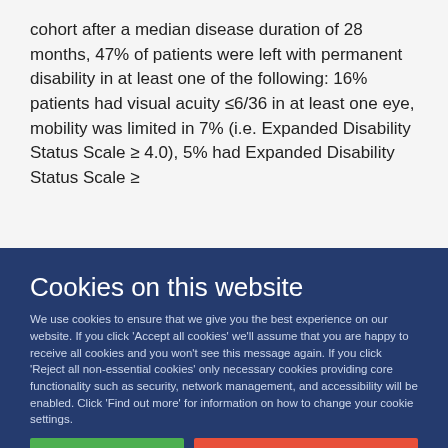cohort after a median disease duration of 28 months, 47% of patients were left with permanent disability in at least one of the following: 16% patients had visual acuity ≤6/36 in at least one eye, mobility was limited in 7% (i.e. Expanded Disability Status Scale ≥ 4.0), 5% had Expanded Disability Status Scale ≥
Cookies on this website
We use cookies to ensure that we give you the best experience on our website. If you click 'Accept all cookies' we'll assume that you are happy to receive all cookies and you won't see this message again. If you click 'Reject all non-essential cookies' only necessary cookies providing core functionality such as security, network management, and accessibility will be enabled. Click 'Find out more' for information on how to change your cookie settings.
Accept all cookies
Reject all non-essential cookies